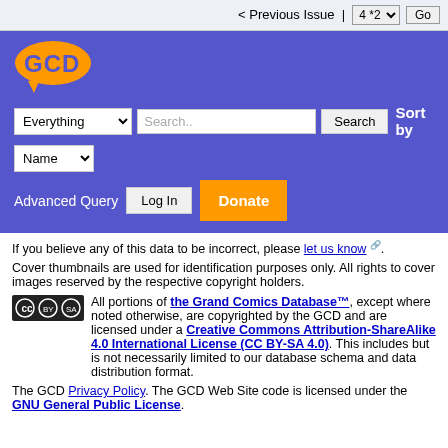< Previous Issue | 4 *2 ▾  Go
[Figure (logo): GCD (Grand Comics Database) orange logo on purple background]
Everything ▾  Search..  Search  Sort by  Name ▾
Advanced Query  Log In  Donate
If you believe any of this data to be incorrect, please let us know 🔗.
Cover thumbnails are used for identification purposes only. All rights to cover images reserved by the respective copyright holders.
All portions of the Grand Comics Database™, except where noted otherwise, are copyrighted by the GCD and are licensed under a Creative Commons Attribution-ShareAlike 4.0 International License (CC BY-SA 4.0). This includes but is not necessarily limited to our database schema and data distribution format.
The GCD Privacy Policy. The GCD Web Site code is licensed under the GNU General Public License.